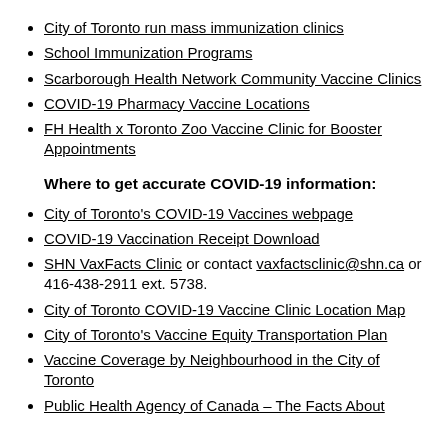City of Toronto run mass immunization clinics
School Immunization Programs
Scarborough Health Network Community Vaccine Clinics
COVID-19 Pharmacy Vaccine Locations
FH Health x Toronto Zoo Vaccine Clinic for Booster Appointments
Where to get accurate COVID-19 information:
City of Toronto's COVID-19 Vaccines webpage
COVID-19 Vaccination Receipt Download
SHN VaxFacts Clinic or contact vaxfactsclinic@shn.ca or 416-438-2911 ext. 5738.
City of Toronto COVID-19 Vaccine Clinic Location Map
City of Toronto's Vaccine Equity Transportation Plan
Vaccine Coverage by Neighbourhood in the City of Toronto
Public Health Agency of Canada – The Facts About